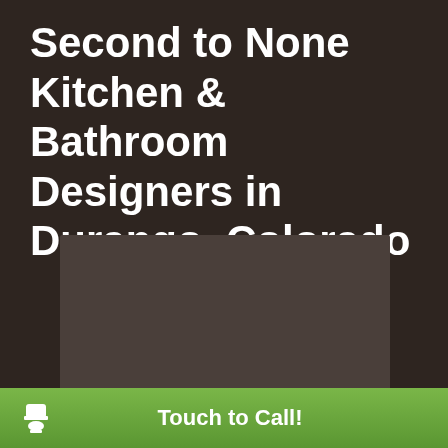Second to None Kitchen & Bathroom Designers in Durango, Colorado
[Figure (other): Dark rectangular image placeholder area]
Touch to Call!